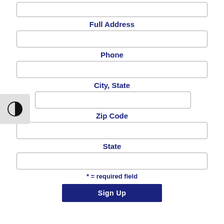Full Address
Phone
City, State
Zip Code
State
* = required field
Sign Up